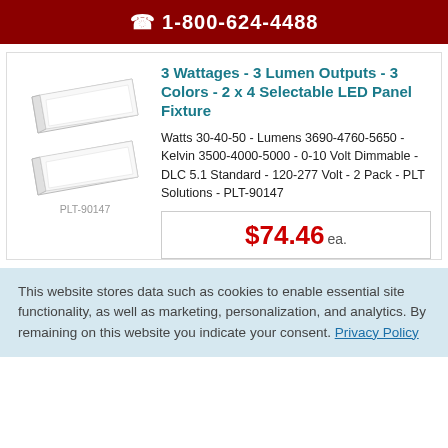☎ 1-800-624-4488
[Figure (photo): Two white rectangular 2x4 LED panel light fixtures shown from an angle, stacked. Product code PLT-90147 shown below.]
3 Wattages - 3 Lumen Outputs - 3 Colors - 2 x 4 Selectable LED Panel Fixture
Watts 30-40-50 - Lumens 3690-4760-5650 - Kelvin 3500-4000-5000 - 0-10 Volt Dimmable - DLC 5.1 Standard - 120-277 Volt - 2 Pack - PLT Solutions - PLT-90147
$74.46 ea.
This website stores data such as cookies to enable essential site functionality, as well as marketing, personalization, and analytics. By remaining on this website you indicate your consent. Privacy Policy